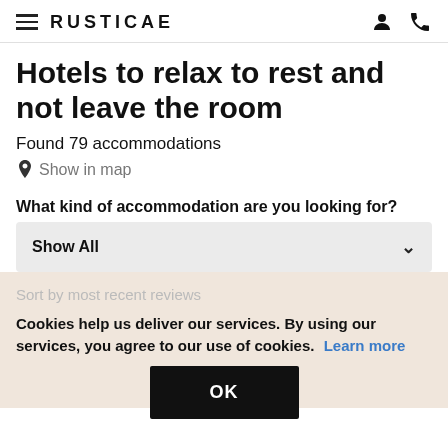RUSTICAE
Hotels to relax to rest and not leave the room
Found 79 accommodations
Show in map
What kind of accommodation are you looking for?
Show All
Sort by most recent reviews
Cookies help us deliver our services. By using our services, you agree to our use of cookies. Learn more
OK